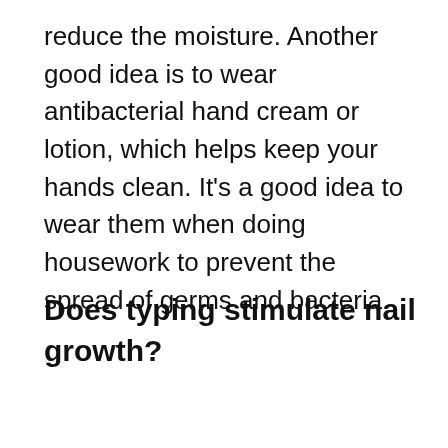reduce the moisture. Another good idea is to wear antibacterial hand cream or lotion, which helps keep your hands clean. It's a good idea to wear them when doing housework to prevent the spread of germs and bacteria.
Does typing stimulate nail growth?